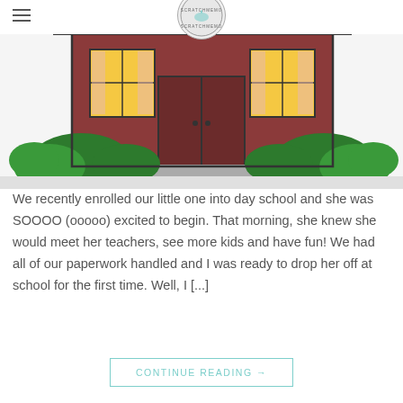ScratchMemory logo and hamburger menu
[Figure (illustration): Cartoon illustration of a school building with dark red double doors, yellow windows, brown brick walls, green bushes at base, and a gray step at the entrance.]
We recently enrolled our little one into day school and she was SOOOO (ooooo) excited to begin. That morning, she knew she would meet her teachers, see more kids and have fun! We had all of our paperwork handled and I was ready to drop her off at school for the first time. Well, I [...]
CONTINUE READING →